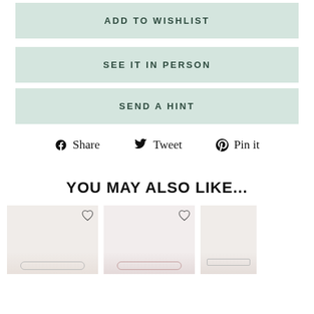ADD TO WISHLIST
SEE IT IN PERSON
SEND A HINT
Share  Tweet  Pin it
YOU MAY ALSO LIKE...
[Figure (photo): Three product images of jewelry items shown side by side with heart/wishlist icons]